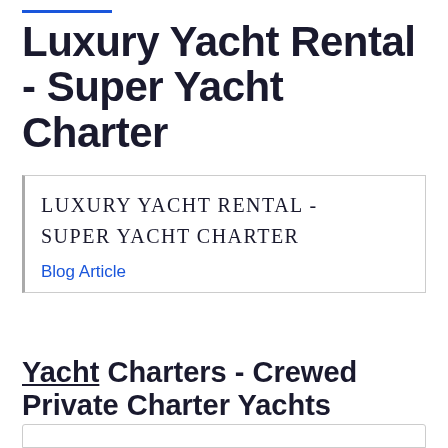Luxury Yacht Rental - Super Yacht Charter
LUXURY YACHT RENTAL - SUPER YACHT CHARTER
Blog Article
Yacht Charters - Crewed Private Charter Yachts